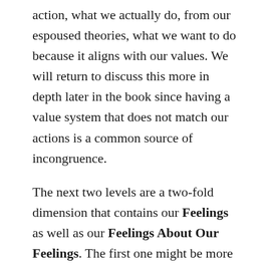action, what we actually do, from our espoused theories, what we want to do because it aligns with our values. We will return to discuss this more in depth later in the book since having a value system that does not match our actions is a common source of incongruence.
The next two levels are a two-fold dimension that contains our Feelings as well as our Feelings About Our Feelings. The first one might be more intuitive but the second one often plays a bigger part in defining us. Let us take them one at a time.
Our feelings are mostly reactive and based in our past. We can relive our feelings when